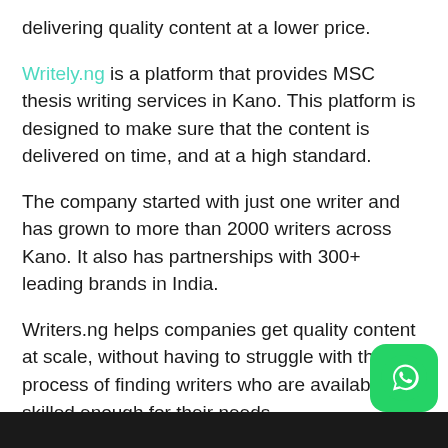delivering quality content at a lower price.
Writely.ng is a platform that provides MSC thesis writing services in Kano. This platform is designed to make sure that the content is delivered on time, and at a high standard.
The company started with just one writer and has grown to more than 2000 writers across Kano. It also has partnerships with 300+ leading brands in India.
Writers.ng helps companies get quality content at scale, without having to struggle with the process of finding writers who are available and skilled enough for their needs.
Writely.ng is a leading MSC thesis writing service i…